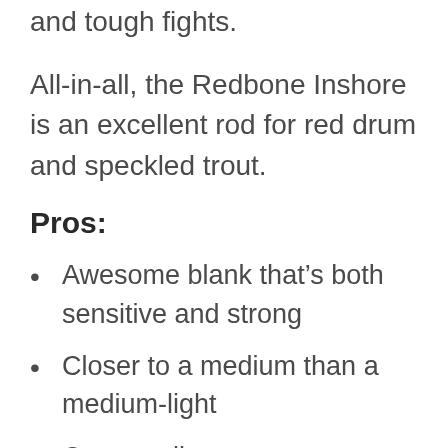and tough fights.
All-in-all, the Redbone Inshore is an excellent rod for red drum and speckled trout.
Pros:
Awesome blank that’s both sensitive and strong
Closer to a medium than a medium-light
Casts well
Excellent guide quality